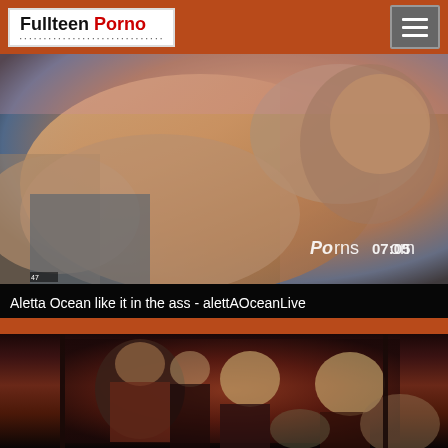Fullteen Porno
[Figure (photo): Adult content video thumbnail showing explicit imagery with watermark 'Porns...om' and duration badge '07:05']
Aletta Ocean like it in the ass - alettAOceanLive
[Figure (photo): Video thumbnail showing people in medieval/royal costumes in a group scene setting]